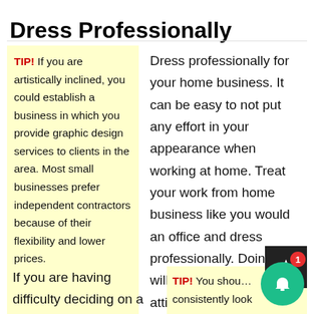Dress Professionally
TIP! If you are artistically inclined, you could establish a business in which you provide graphic design services to clients in the area. Most small businesses prefer independent contractors because of their flexibility and lower prices.
Dress professionally for your home business. It can be easy to not put any effort in your appearance when working at home. Treat your work from home business like you would an office and dress professionally. Doing this will give you the right attitude to be as fruitful and creative as possible.
If you are having difficulty deciding on a product for your
TIP! You should consistently look